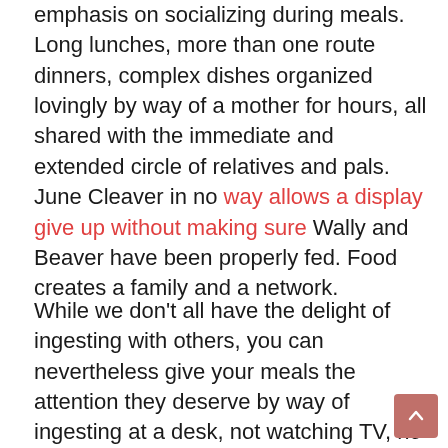emphasis on socializing during meals. Long lunches, more than one route dinners, complex dishes organized lovingly by way of a mother for hours, all shared with the immediate and extended circle of relatives and pals. June Cleaver in no way allows a display give up without making sure Wally and Beaver have been properly fed. Food creates a family and a network.
While we don't all have the delight of ingesting with others, you can nevertheless give your meals the attention they deserve by way of ingesting at a desk, not watching TV, no longer surfing the Internet, perhaps now not even analyzing an e-book. I'm responsible for doing other things even as consuming, though I am working on that. Food is and has to be, a revel in. Take the time to have fun with every chunk